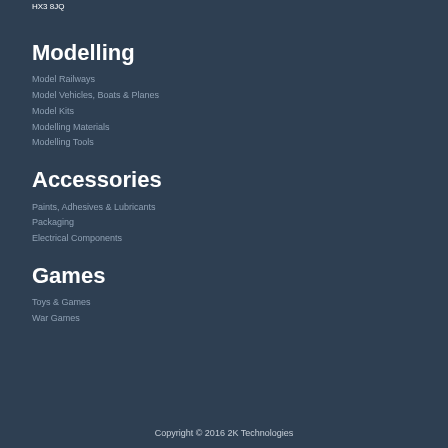HX3 8JQ
Modelling
Model Railways
Model Vehicles, Boats & Planes
Model Kits
Modelling Materials
Modelling Tools
Accessories
Paints, Adhesives & Lubricants
Packaging
Electrical Components
Games
Toys & Games
War Games
Copyright © 2016 2K Technologies